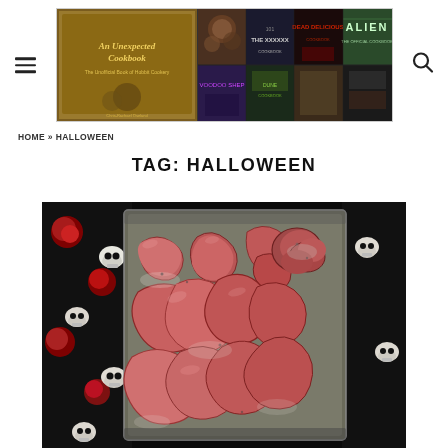[Figure (photo): Website header/logo for 'An Unexpected Cookbook' featuring a collage of various cookbook covers including sci-fi and horror themed cookbooks]
HOME » HALLOWEEN
TAG: HALLOWEEN
[Figure (photo): Photo of Halloween-themed food — intestine/guts shaped sausages or bread rolls in a baking tray, arranged on a skull and roses patterned fabric background]